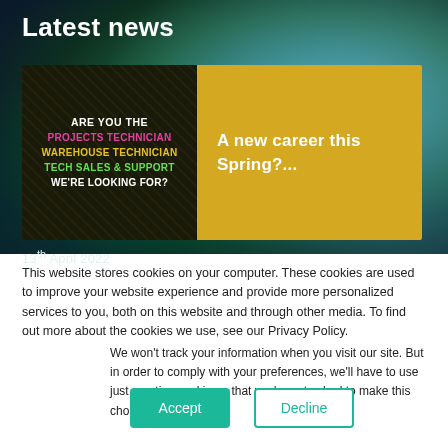Latest news
[Figure (screenshot): News card showing a job advertisement image on the left (dark background with colored text: ARE YOU THE, PROJECTS TECHNICIAN, WAREHOUSE TECHNICIAN, TECH SALES & SUPPORT, WE'RE LOOKING FOR?) and a golden/yellow panel on the right with text 'A new career this Spring?...' in white]
13th April 2022
This website stores cookies on your computer. These cookies are used to improve your website experience and provide more personalized services to you, both on this website and through other media. To find out more about the cookies we use, see our Privacy Policy.
We won't track your information when you visit our site. But in order to comply with your preferences, we'll have to use just one tiny cookie so that you're not asked to make this choice again.
Accept
Decline